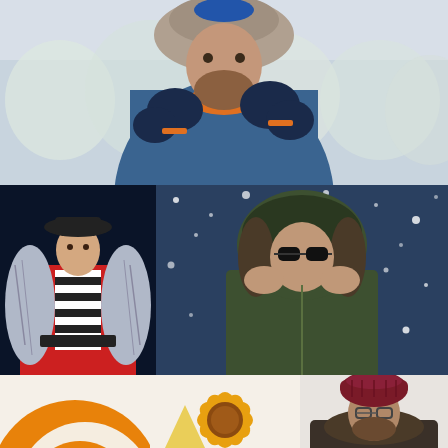[Figure (photo): Man in blue winter jacket and fur-trimmed hat wearing dark navy gloves, standing in a snowy outdoor scene with snow-covered trees in the background.]
[Figure (photo): Woman wearing a black hat and a red coat with large silver/grey fur trim collar, standing against a dark background.]
[Figure (photo): Man wearing dark sunglasses and an olive/dark green winter parka with fur-trimmed hood, against a snowy blue background with falling snowflakes.]
[Figure (illustration): Partial view of an orange and white circular sun/mandala illustration clipped at bottom left.]
[Figure (illustration): A golden sunflower illustration on a light background.]
[Figure (photo): Man wearing glasses and a dark burgundy/maroon beanie hat with a fur-trimmed winter jacket, against a white/light background, partially cropped.]